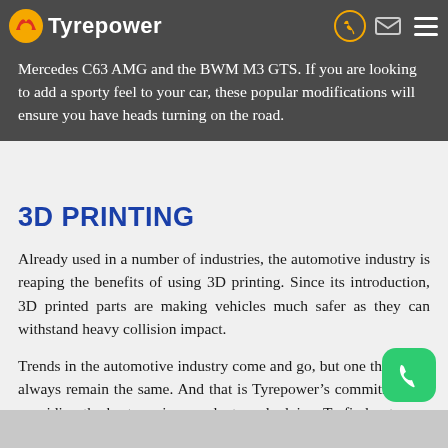Tyrepower
Mercedes C63 AMG and the BWM M3 GTS. If you are looking to add a sporty feel to your car, these popular modifications will ensure you have heads turning on the road.
3D PRINTING
Already used in a number of industries, the automotive industry is reaping the benefits of using 3D printing. Since its introduction, 3D printed parts are making vehicles much safer as they can withstand heavy collision impact.
Trends in the automotive industry come and go, but one thing will always remain the same. And that is Tyrepower’s commitment to providing the best service, products and advice. To find out more call us today.